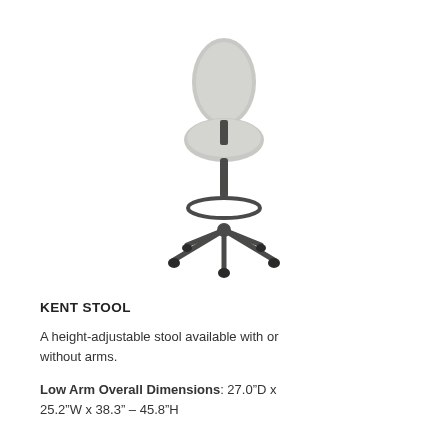[Figure (illustration): A height-adjustable drafting stool (Kent Stool) with light gray upholstered seat and back, dark metal five-star base with casters and a circular footring.]
KENT STOOL
A height-adjustable stool available with or without arms.
Low Arm Overall Dimensions: 27.0"D x 25.2"W x 38.3" – 45.8"H